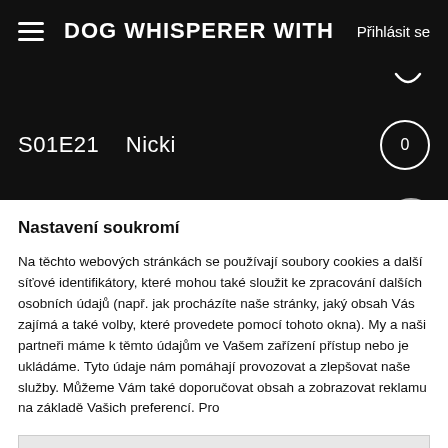DOG WHISPERER WITH   Přihlásit se
S01E21    Nicki
Nastavení soukromí
Na těchto webových stránkách se používají soubory cookies a další síťové identifikátory, které mohou také sloužit ke zpracování dalších osobních údajů (např. jak procházíte naše stránky, jaký obsah Vás zajímá a také volby, které provedete pomocí tohoto okna). My a naši partneři máme k těmto údajům ve Vašem zařízení přístup nebo je ukládáme. Tyto údaje nám pomáhají provozovat a zlepšovat naše služby. Můžeme Vám také doporučovat obsah a zobrazovat reklamu na základě Vašich preferencí. Pro
Podrobné nastavení
Rozumím a přijímám